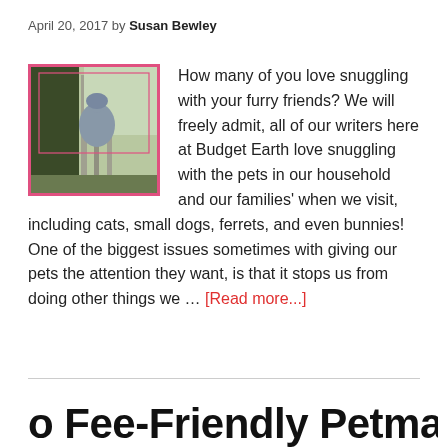April 20, 2017 by Susan Bewley
[Figure (photo): Person seen from behind standing near a fence with trees in background, with a pink/red rectangular overlay border]
How many of you love snuggling with your furry friends? We will freely admit, all of our writers here at Budget Earth love snuggling with the pets in our household and our families' when we visit, including cats, small dogs, ferrets, and even bunnies! One of the biggest issues sometimes with giving our pets the attention they want, is that it stops us from doing other things we … [Read more...]
o Fee-Friendly Petmate